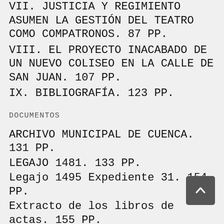VII. JUSTICIA Y REGIMIENTO ASUMEN LA GESTIÓN DEL TEATRO COMO COMPATRONOS. 87 PP.
VIII. EL PROYECTO INACABADO DE UN NUEVO COLISEO EN LA CALLE DE SAN JUAN. 107 PP.
IX. BIBLIOGRAFÍA. 123 PP.
DOCUMENTOS
ARCHIVO MUNICIPAL DE CUENCA. 131 PP.
LEGAJO 1481. 133 PP.
Legajo 1495 Expediente 31. 154 PP.
Extracto de los libros de actas. 155 PP.
Legajo 1559-4. 189 PP.
Legajo 1559-7. 190 PP.
ARCHIVO DE LA CATEDRAL DE